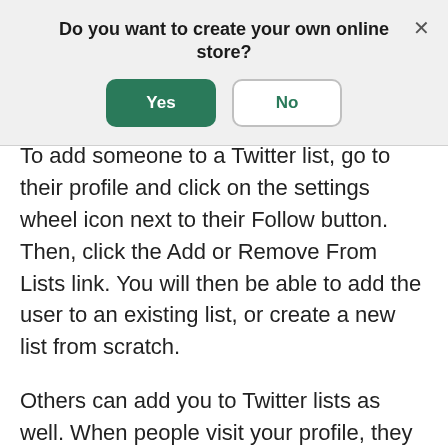Do you want to create your own online store?
[Figure (screenshot): Modal dialog with Yes (green filled button) and No (white outlined button) options, and an X close button in top right]
To add someone to a Twitter list, go to their profile and click on the settings wheel icon next to their Follow button. Then, click the Add or Remove From Lists link. You will then be able to add the user to an existing list, or create a new list from scratch.
Others can add you to Twitter lists as well. When people visit your profile, they can click on your Lists link to see the lists you follow, and the lists to which you have been added.